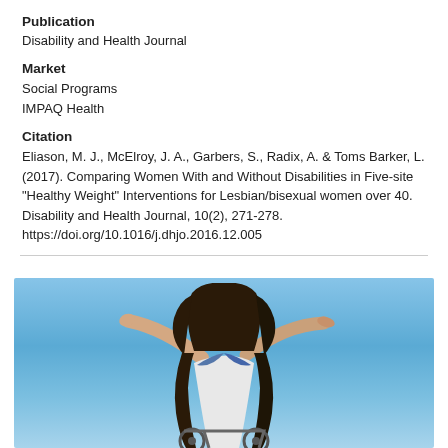Publication
Disability and Health Journal
Market
Social Programs
IMPAQ Health
Citation
Eliason, M. J., McElroy, J. A., Garbers, S., Radix, A. & Toms Barker, L. (2017). Comparing Women With and Without Disabilities in Five-site "Healthy Weight" Interventions for Lesbian/bisexual women over 40. Disability and Health Journal, 10(2), 271-278. https://doi.org/10.1016/j.dhjo.2016.12.005
[Figure (photo): Woman in a wheelchair viewed from behind with arms outstretched against a blue sky background]